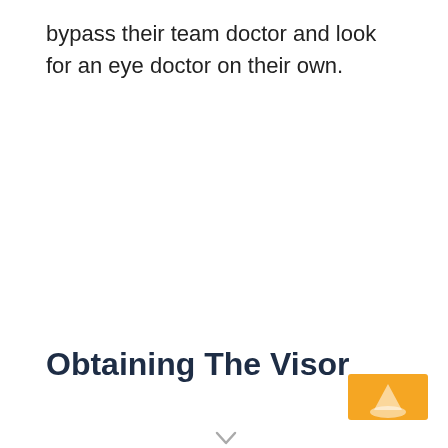bypass their team doctor and look for an eye doctor on their own.
Obtaining The Visor